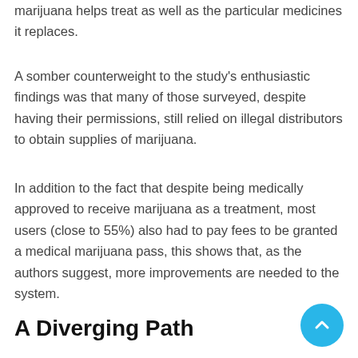marijuana helps treat as well as the particular medicines it replaces.
A somber counterweight to the study's enthusiastic findings was that many of those surveyed, despite having their permissions, still relied on illegal distributors to obtain supplies of marijuana.
In addition to the fact that despite being medically approved to receive marijuana as a treatment, most users (close to 55%) also had to pay fees to be granted a medical marijuana pass, this shows that, as the authors suggest, more improvements are needed to the system.
A Diverging Path